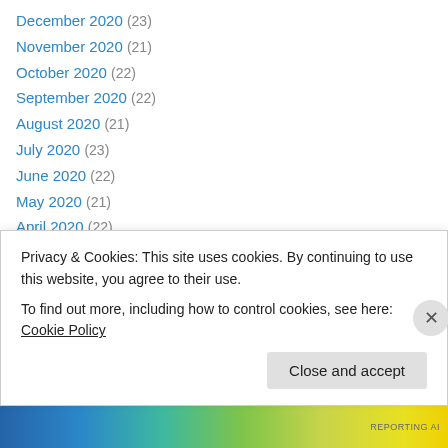December 2020 (23)
November 2020 (21)
October 2020 (22)
September 2020 (22)
August 2020 (21)
July 2020 (23)
June 2020 (22)
May 2020 (21)
April 2020 (22)
March 2020 (22)
February 2020 (20)
January 2020 (23)
December 2019 (17)
November 2019 (...)
Privacy & Cookies: This site uses cookies. By continuing to use this website, you agree to their use. To find out more, including how to control cookies, see here: Cookie Policy